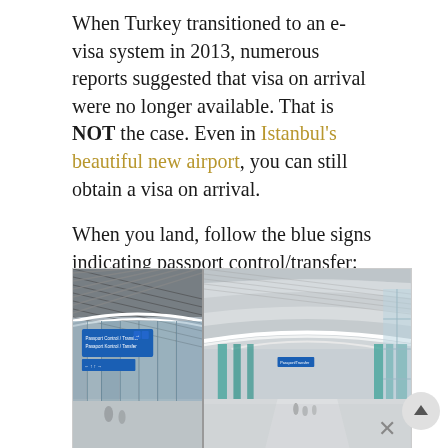When Turkey transitioned to an e-visa system in 2013, numerous reports suggested that visa on arrival were no longer available. That is NOT the case. Even in Istanbul's beautiful new airport, you can still obtain a visa on arrival.
When you land, follow the blue signs indicating passport control/transfer:
[Figure (photo): Two-panel photo of Istanbul's new airport interior. Left panel shows entrance/gate area with a blue passport control/transfer sign and automatic glass doors. Right panel shows the grand terminal corridor with distinctive white wavy ceiling, teal/turquoise structural columns, floor-to-ceiling windows, and people walking.]